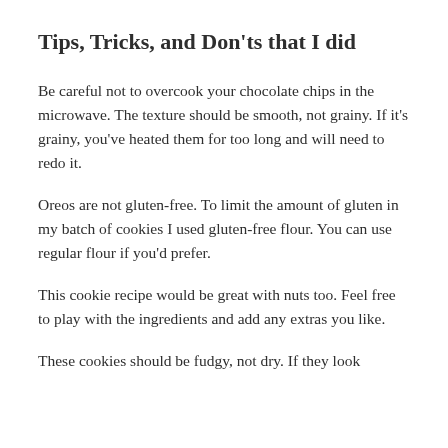Tips, Tricks, and Don'ts that I did
Be careful not to overcook your chocolate chips in the microwave. The texture should be smooth, not grainy. If it's grainy, you've heated them for too long and will need to redo it.
Oreos are not gluten-free. To limit the amount of gluten in my batch of cookies I used gluten-free flour. You can use regular flour if you'd prefer.
This cookie recipe would be great with nuts too. Feel free to play with the ingredients and add any extras you like.
These cookies should be fudgy, not dry. If they look